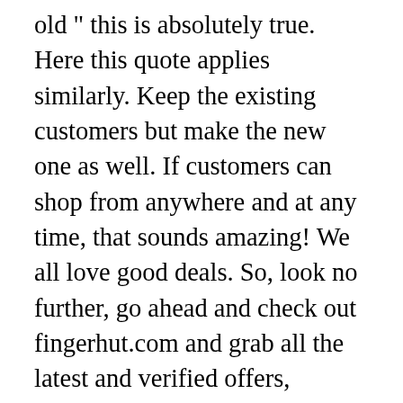old " this is absolutely true. Here this quote applies similarly. Keep the existing customers but make the new one as well. If customers can shop from anywhere and at any time, that sounds amazing! We all love good deals. So, look no further, go ahead and check out fingerhut.com and grab all the latest and verified offers, Fingerhut promo code for existing users as well as for new users, and discount coupons!